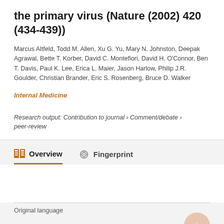the primary virus (Nature (2002) 420 (434-439))
Marcus Altfeld, Todd M. Allen, Xu G. Yu, Mary N. Johnston, Deepak Agrawal, Bette T. Korber, David C. Montefiori, David H. O'Connor, Ben T. Davis, Paul K. Lee, Erica L. Maier, Jason Harlow, Philip J.R. Goulder, Christian Brander, Eric S. Rosenberg, Bruce D. Walker
Internal Medicine
Research output: Contribution to journal › Comment/debate › peer-review